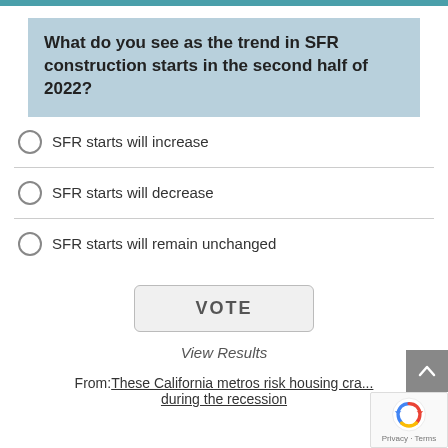What do you see as the trend in SFR construction starts in the second half of 2022?
SFR starts will increase
SFR starts will decrease
SFR starts will remain unchanged
VOTE
View Results
From: These California metros risk housing cra... during the recession